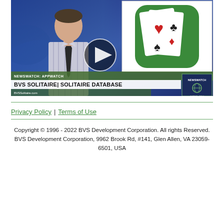[Figure (screenshot): Video thumbnail showing a news broadcast screenshot. A news anchor in a striped shirt and dark tie is visible on the left side against a blue background. On the right is a card game app icon (solitaire cards on green background). A circular play button overlay is visible in the center. The lower third shows 'NEWSWATCH: APPWATCH' and 'BVS SOLITAIRE| SOLITAIRE DATABASE' in a white bar, with 'BVSSolitaire.com' below and a Newswatch logo and date 'OCT 21, 2014' in the corner.]
Privacy Policy | Terms of Use
Copyright © 1996 - 2022 BVS Development Corporation. All rights Reserved.
BVS Development Corporation, 9962 Brook Rd, #141, Glen Allen, VA 23059-6501, USA